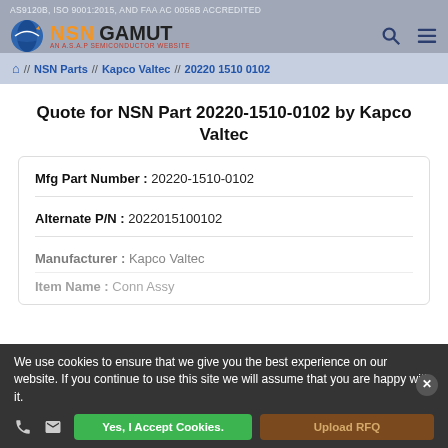AS9120B, ISO 9001:2015, AND FAA AC 0056B ACCREDITED
[Figure (logo): NSN Gamut logo — AN A.S.A.P SEMICONDUCTOR WEBSITE]
NSN Parts // Kapco Valtec // 20220 1510 0102
Quote for NSN Part 20220-1510-0102 by Kapco Valtec
| Field | Value |
| --- | --- |
| Mfg Part Number : | 20220-1510-0102 |
| Alternate P/N : | 2022015100102 |
| Manufacturer : | Kapco Valtec |
| Item Name : | Conn Assy |
We use cookies to ensure that we give you the best experience on our website. If you continue to use this site we will assume that you are happy with it.